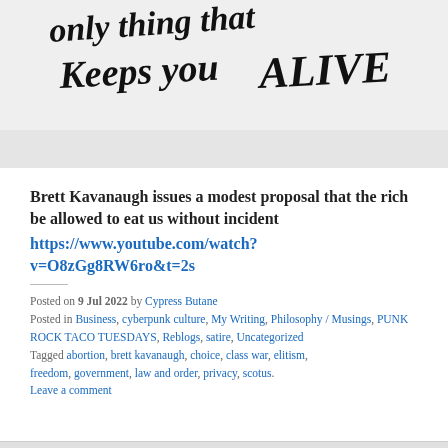[Figure (photo): Handwritten text on white background reading '...only thing that Keeps you ALIVE' in large black brushstroke lettering]
Brett Kavanaugh issues a modest proposal that the rich be allowed to eat us without incident
https://www.youtube.com/watch?v=O8zGg8RW6ro&t=2s
Posted on 9 Jul 2022 by Cypress Butane
Posted in Business, cyberpunk culture, My Writing, Philosophy / Musings, PUNK ROCK TACO TUESDAYS, Reblogs, satire, Uncategorized
Tagged abortion, brett kavanaugh, choice, class war, elitism, freedom, government, law and order, privacy, scotus.
Leave a comment